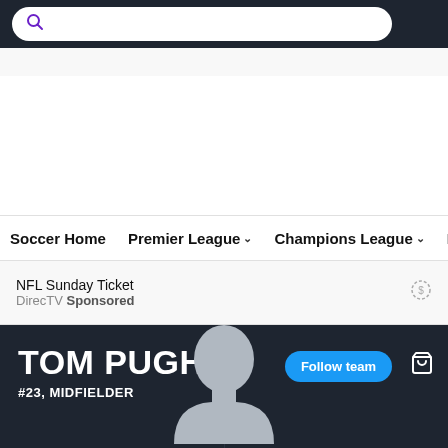[Figure (screenshot): Search bar with purple magnifying glass icon on dark navy background]
Soccer Home   Premier League ▾   Champions League ▾   Bu…
NFL Sunday Ticket
DirecTV Sponsored
TOM PUGH
#23, MIDFIELDER
[Figure (illustration): Gray silhouette placeholder of a person (head and shoulders) on dark navy background]
Follow team